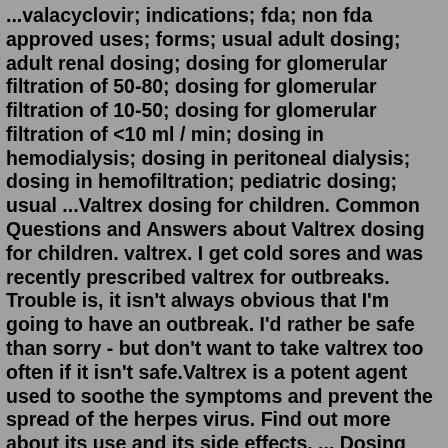...valacyclovir; indications; fda; non fda approved uses; forms; usual adult dosing; adult renal dosing; dosing for glomerular filtration of 50-80; dosing for glomerular filtration of 10-50; dosing for glomerular filtration of <10 ml / min; dosing in hemodialysis; dosing in peritoneal dialysis; dosing in hemofiltration; pediatric dosing; usual ...Valtrex dosing for children. Common Questions and Answers about Valtrex dosing for children. valtrex. I get cold sores and was recently prescribed valtrex for outbreaks. Trouble is, it isn't always obvious that I'm going to have an outbreak. I'd rather be safe than sorry - but don't want to take valtrex too often if it isn't safe.Valtrex is a potent agent used to soothe the symptoms and prevent the spread of the herpes virus. Find out more about its use and its side effects, ... Dosing Information. The dosage of Valtrex you may need as well as the duration of treatment strongly depend on what type of herpes infection you have and whether you deal with the first episode ...valacyclovir dosage of 500 mg twice daily, this level would expose a